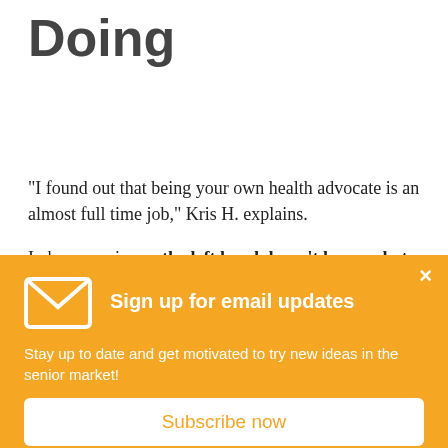Doing
"I found out that being your own health advocate is an almost full time job," Kris H. explains.
In her experience, the left hand doesn't know what the right hand is doing when it comes to things like late enrollment penalties, the primary coverage, etc.
[Figure (infographic): Orange popup overlay with email icon, heading 'Sign up for email updates', body text 'Stay up to date and get motivated to try new ideas in the senior market!', a close (×) button, and a white Subscribe now button.]
Sign up for email updates
Stay up to date and get motivated to try new ideas in the senior market!
Subscribe now